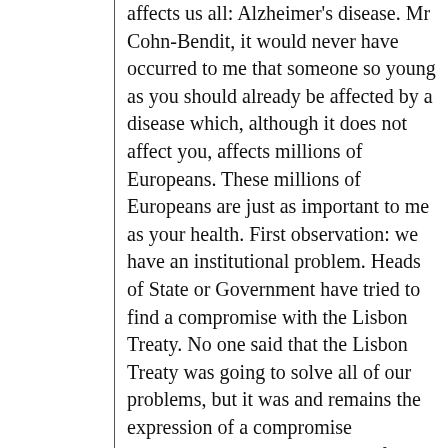affects us all: Alzheimer's disease. Mr Cohn-Bendit, it would never have occurred to me that someone so young as you should already be affected by a disease which, although it does not affect you, affects millions of Europeans. These millions of Europeans are just as important to me as your health. First observation: we have an institutional problem. Heads of State or Government have tried to find a compromise with the Lisbon Treaty. No one said that the Lisbon Treaty was going to solve all of our problems, but it was and remains the expression of a compromise acceptable to everyone. I myself, as President of the French Republic, had to face up to my responsibilities. France voted 'no' in 2005 and this caused a problem for France. Ladies and gentlemen, the issues that we have to address are very difficult and